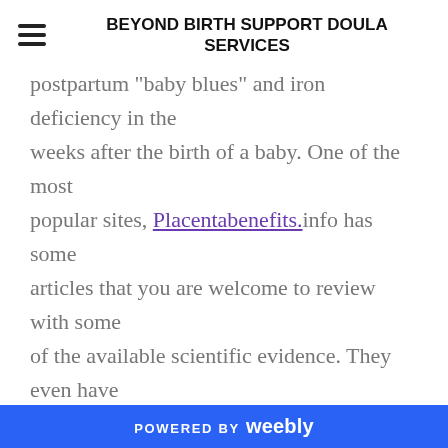BEYOND BIRTH SUPPORT DOULA SERVICES
postpartum "baby blues" and iron deficiency in the weeks after the birth of a baby. One of the most popular sites, Placentabenefits.info has some articles that you are welcome to review with some of the available scientific evidence. They even have this statement in their article about "How to Have A Happy Postpartum"
" Use the placenta to help with your postpartum recovery. Your own placenta, made into capsules, is
POWERED BY weebly